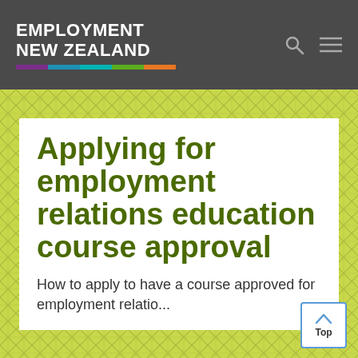EMPLOYMENT NEW ZEALAND
Applying for employment relations education course approval
How to apply to have a course approved for employment relatio...